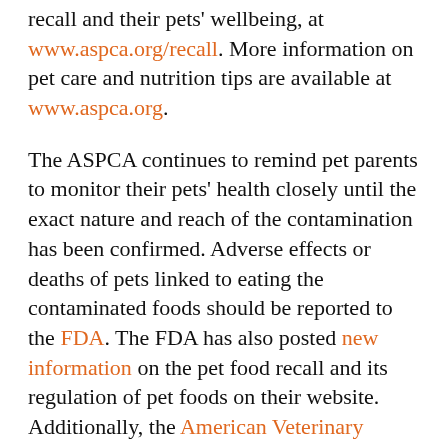recall and their pets' wellbeing, at www.aspca.org/recall. More information on pet care and nutrition tips are available at www.aspca.org.
The ASPCA continues to remind pet parents to monitor their pets' health closely until the exact nature and reach of the contamination has been confirmed. Adverse effects or deaths of pets linked to eating the contaminated foods should be reported to the FDA. The FDA has also posted new information on the pet food recall and its regulation of pet foods on their website. Additionally, the American Veterinary Medical Association (AVMA) has a wealth of resources.
###